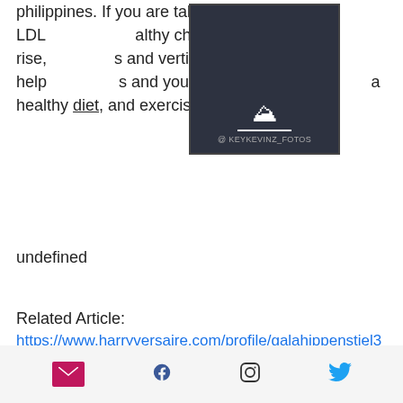philippines. If you are taking steroids, your LDL - healthy cholesterol - may rise, and vertigo0. You can help and your HDL by losing a healthy diet, and exercising.
[Figure (photo): Dark square image placeholder with mountain icon and @KEYKEVINZ_FOTOS credit text]
undefined
Related Article:
https://www.harryversaire.com/profile/galahippenstiel33270/profile
https://www.virginiabeachphotoboothcompany.com/profile/yongkettle46483/profile
https://zh.bilopp.com/profile/heribertoskolnik41180/profile
https://www.aptusclinic.com/profile/mikelbracker108429/profile
[email icon] [facebook icon] [instagram icon] [twitter icon]